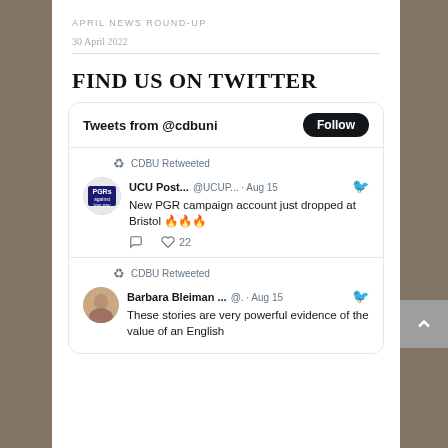APRIL NEWS ROUND-UP
30 April 2022
FIND US ON TWITTER
[Figure (screenshot): Twitter widget showing 'Tweets from @cdbuni' with a Follow button, two retweets labeled 'CDBU Retweeted'. First tweet from UCU Post... @UCUP... · Aug 15: 'New PGR campaign account just dropped at Bristol 🔥🔥🔥' with 22 likes. Second tweet from Barbara Bleiman ... @ . · Aug 15: 'These stories are very powerful evidence of the value of an English' (truncated).]